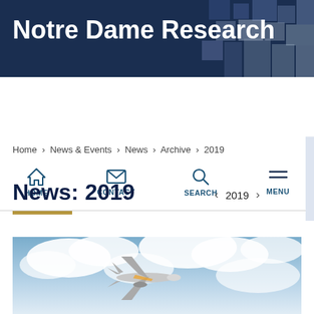Notre Dame Research
HOME | CONTACT | SEARCH | MENU
Home › News & Events › News › Archive › 2019
News: 2019
‹ 2019 ›
[Figure (photo): Airplane flying through cloudy sky, viewed from below]